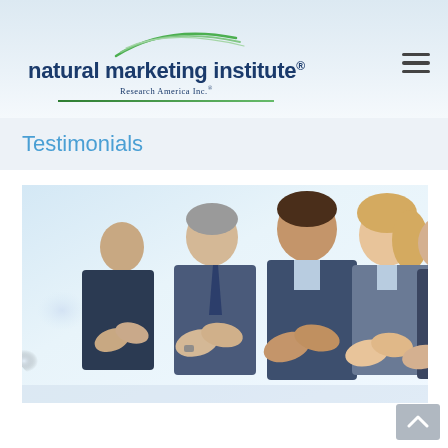[Figure (logo): Natural Marketing Institute logo with green arc swoosh graphic, bold dark blue text 'natural marketing institute®', subtitle 'Research America Inc.®', and green underline bar]
Testimonials
[Figure (photo): Business professionals seated in a row, smiling and clapping/applauding, photographed from side angle. Light blue/white bokeh background.]